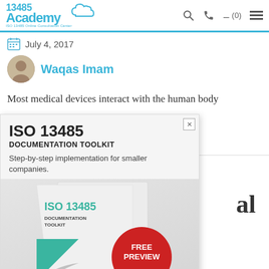13485 Academy — ISO 13485 Online Consultation Center
July 4, 2017
Waqas Imam
Most medical devices interact with the human body
[Figure (screenshot): ISO 13485 Documentation Toolkit advertisement popup with free preview badge and Find Out More button]
al